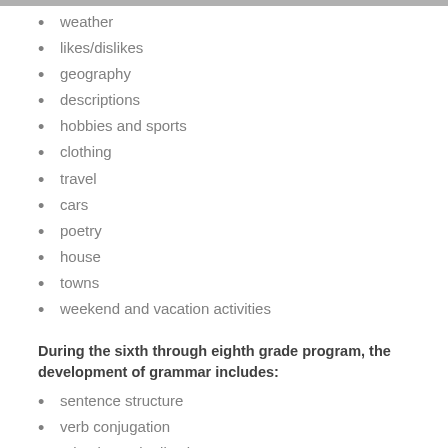weather
likes/dislikes
geography
descriptions
hobbies and sports
clothing
travel
cars
poetry
house
towns
weekend and vacation activities
During the sixth through eighth grade program, the development of grammar includes:
sentence structure
verb conjugation
adverbs and adjectives
pronouns (subject, object, reflexive)